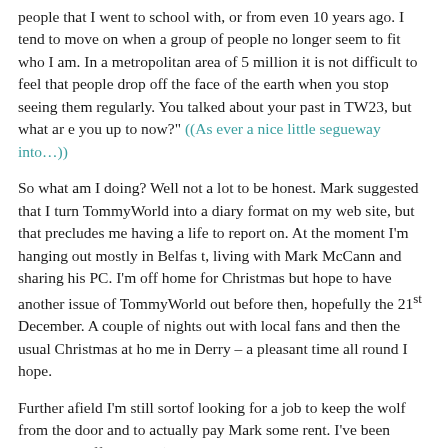people that I went to school with, or from even 10 years ago. I tend to move on when a group of people no longer seem to fit who I am. In a metropolitan area of 5 million it is not difficult to feel that people drop off the face of the earth when you stop seeing them regularly. You talked about your past in TW23, but what ar e you up to now?" ((As ever a nice little segueway into…))
So what am I doing? Well not a lot to be honest. Mark suggested that I turn TommyWorld into a diary format on my web site, but that precludes me having a life to report on. At the moment I'm hanging out mostly in Belfas t, living with Mark McCann and sharing his PC. I'm off home for Christmas but hope to have another issue of TommyWorld out before then, hopefully the 21st December. A couple of nights out with local fans and then the usual Christmas at ho me in Derry – a pleasant time all round I hope.
Further afield I'm still sortof looking for a job to keep the wolf from the door and to actually pay Mark some rent. I've been looking at office work (it is easiest to get, pays well and it's all the experience I have) but may start lookin g in bars and restaurants if nothing turns up. I'm also thinking about applying tot he local coffee shop (the one I mentioned in 'Java for Dummies' in Götterdämmerung 10) as a Barista. Well I've been to Seattle a lot…
[continues…]